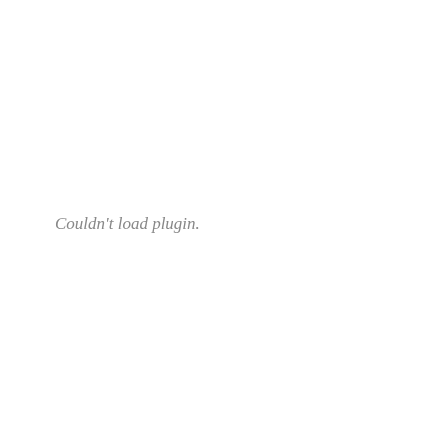[Figure (other): Couldn't load plugin. placeholder area on left side of page]
1) Clever speaks to everyone. only speaks to prospects. If y weaken your appeal to the re
2) Boring headlines come fro do enough research.
3) Headlines ( like copy ) mu reader...he doesn't know wha will be glad to find it out.
4) Benefits....ahhh, the very t Avenue has forgotten about. awards and tell you you can't advertising doesn't cost...it pa
5) Goes along the same line real prospect, they are passio writing, they will want to know so you HAVE to do the neces writing a headline or copy. Th you're a phony.
Mike ( with an assist from Ol
Posted by: Mike Sigers | January 2